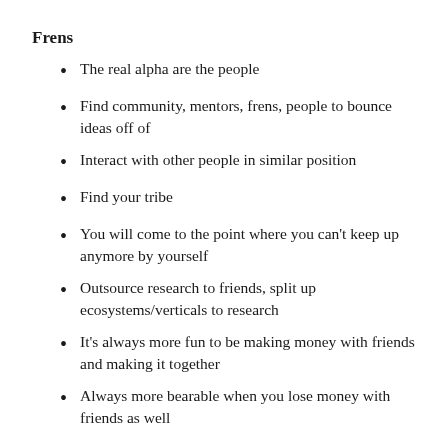Frens
The real alpha are the people
Find community, mentors, frens, people to bounce ideas off of
Interact with other people in similar position
Find your tribe
You will come to the point where you can't keep up anymore by yourself
Outsource research to friends, split up ecosystems/verticals to research
It's always more fun to be making money with friends and making it together
Always more bearable when you lose money with friends as well